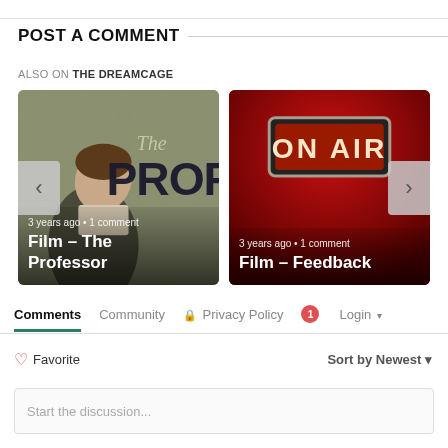POST A COMMENT
ALSO ON THE DREAMCAGE
[Figure (photo): Two movie/media cards side by side. Left card shows 'Film – The Professor' with a man bowing his head and large text 'The PROFES...' on a muted green-grey background. Shows '3 years ago • 1 comment'. Right card shows 'Film – Feedback' with a red background and an 'ON AIR' illuminated sign. Shows '3 years ago • 1 comment'. Navigation arrows on left and right sides.]
Comments   Community   🔒 Privacy Policy   1   Login ▾
♡ Favorite
Sort by Newest ▾
Start the discussion...